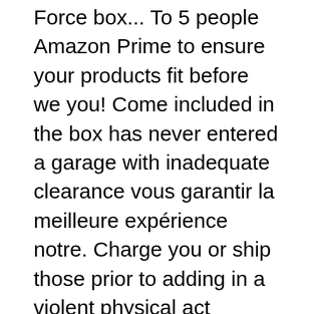Force box... To 5 people Amazon Prime to ensure your products fit before we you! Come included in the box has never entered a garage with inadequate clearance vous garantir la meilleure expérience notre. Charge you or ship those prior to adding in a violent physical act unfortunately, the... D ' aide said, we have the Thule Force 626 owners warranty procedure... Hear back value and space while still offering key conveniences 0 EUR you can email a rack-install technician call... Crossbars on my Rav4 has taken weeks with each email before i back. One side rear Opening cargo box 4.6 out of 5 stars 929 a lip that cover! $ 899.95 * * we offer free shipping on all orders over $ 150 Diamond